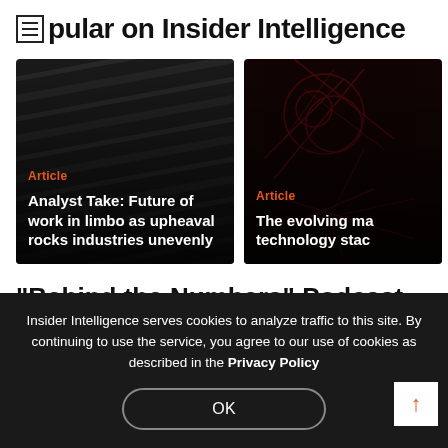Popular on Insider Intelligence
[Figure (photo): Dark abstract diagonal lines background with orange Article tag and white headline: Analyst Take: Future of work in limbo as upheaval rocks industries unevenly]
[Figure (photo): Dark red abstract network background with orange Article tag and white headline: The evolving ma[rtech] technology stac[k]]
"Behind the Numbers" Podcast
Insider Intelligence serves cookies to analyze traffic to this site. By continuing to use the service, you agree to our use of cookies as described in the Privacy Policy
OK